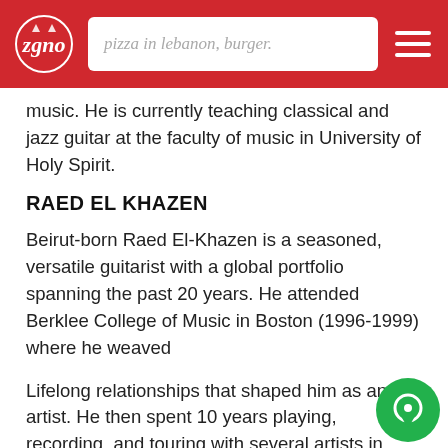pizza in lebanon, burger.
music. He is currently teaching classical and jazz guitar at the faculty of music in University of Holy Spirit.
RAED EL KHAZEN
Beirut-born Raed El-Khazen is a seasoned, versatile guitarist with a global portfolio spanning the past 20 years. He attended Berklee College of Music in Boston (1996-1999) where he weaved
Lifelong relationships that shaped him as an artist. He then spent 10 years playing, recording, and touring with several artists in New York.
In 2009 Raed returned to Lebanon to focus on production.He is credited for some of the most innovative sounds coming out of the region in the